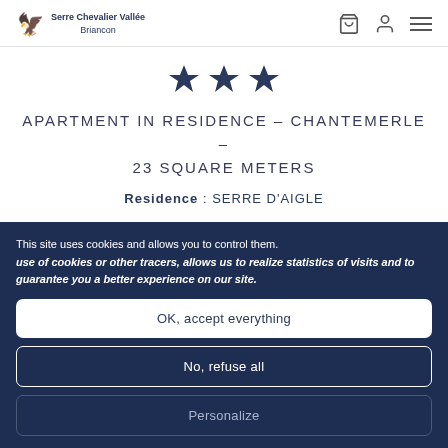Serre Chevalier Vallée Briancon
[Figure (illustration): Three stars rating icon in dark navy blue]
APARTMENT IN RESIDENCE – CHANTEMERLE – 23 SQUARE METERS
Residence : SERRE D'AIGLE
[Figure (illustration): Three amenity icons: dishwasher/appliance, TV screen, ski equipment]
This site uses cookies and allows you to control them. use of cookies or other tracers, allows us to realize statistics of visits and to guarantee you a better experience on our site.
OK, accept everything
No, refuse all
Personalize